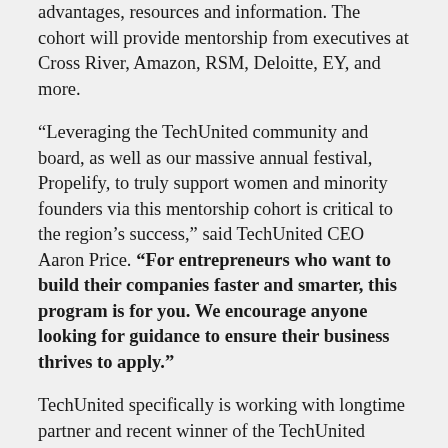underrepresented founders and owners with new advantages, resources and information. The cohort will provide mentorship from executives at Cross River, Amazon, RSM, Deloitte, EY, and more.
“Leveraging the TechUnited community and board, as well as our massive annual festival, Propelify, to truly support women and minority founders via this mentorship cohort is critical to the region’s success,” said TechUnited CEO Aaron Price. “For entrepreneurs who want to build their companies faster and smarter, this program is for you. We encourage anyone looking for guidance to ensure their business thrives to apply.”
TechUnited specifically is working with longtime partner and recent winner of the TechUnited Impact Company of the Year award, Cross River. Community impact & dedication to real change is a key thread in the fabric of